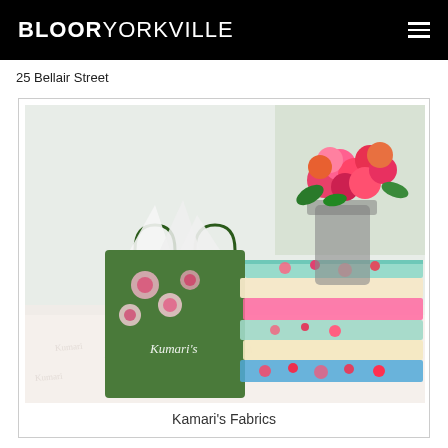BLOORYORKVILLE
25 Bellair Street
[Figure (photo): Stack of colorful floral fabric bolts next to a green Kumari's branded shopping bag with rose pattern, and a vase of pink and red roses in the background on a white surface with Kumari's branded tissue paper]
Kamari's Fabrics